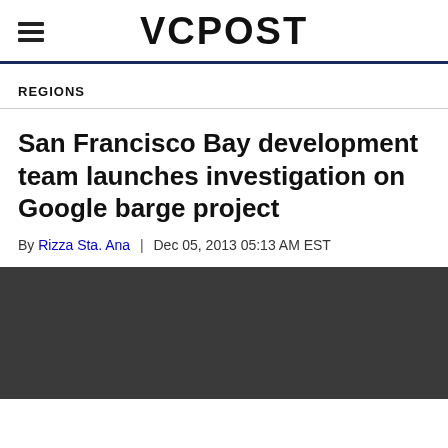VCPOST
REGIONS
San Francisco Bay development team launches investigation on Google barge project
By Rizza Sta. Ana | Dec 05, 2013 05:13 AM EST
[Figure (photo): Dark image placeholder for article photo]